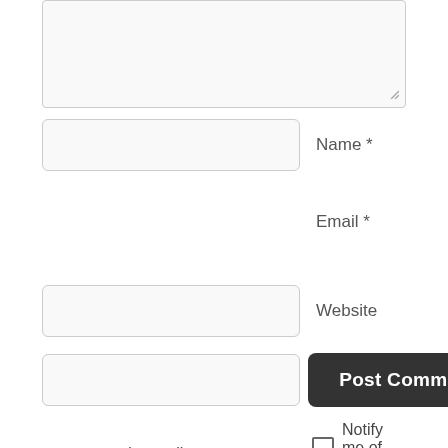[Figure (screenshot): Comment form textarea (empty, with resize handle at bottom-right), Name input field with label 'Name *', Email input field with label 'Email *', Website input field with label 'Website', a smaller input field alongside a dark 'Post Comment' button, two checkboxes: 'Notify me of new comments via email.' and 'Notify me of new posts via email.']
IN CASE YOU'RE INTERESTED
Website Powered by WordPress.com